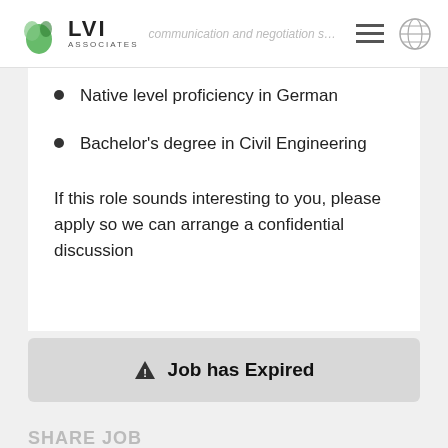LVI Associates — communication and negotiation s…
Native level proficiency in German
Bachelor's degree in Civil Engineering
If this role sounds interesting to you, please apply so we can arrange a confidential discussion
⚠ Job has Expired
SHARE JOB